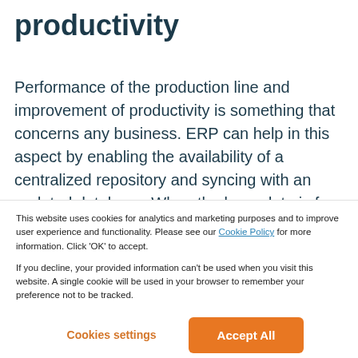productivity
Performance of the production line and improvement of productivity is something that concerns any business. ERP can help in this aspect by enabling the availability of a centralized repository and syncing with an updated database. When the base data is free of errors, a lot of guesswork and dependance on empirical instance...
This website uses cookies for analytics and marketing purposes and to improve user experience and functionality. Please see our Cookie Policy for more information. Click ‘OK’ to accept.

If you decline, your provided information can’t be used when you visit this website. A single cookie will be used in your browser to remember your preference not to be tracked.
Cookies settings | Accept All